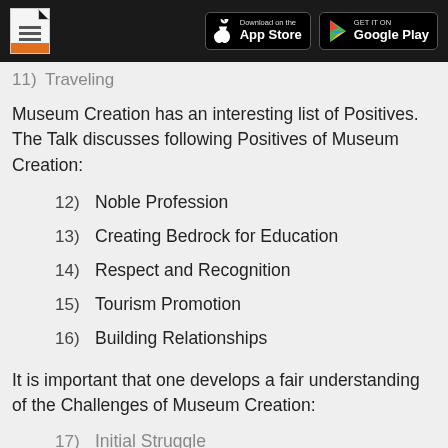App Store / Google Play header with document icon
11) Traveling
Museum Creation has an interesting list of Positives. The Talk discusses following Positives of Museum Creation:
12) Noble Profession
13) Creating Bedrock for Education
14) Respect and Recognition
15) Tourism Promotion
16) Building Relationships
It is important that one develops a fair understanding of the Challenges of Museum Creation:
17) Initial Struggle